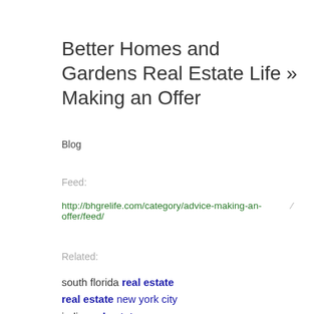Better Homes and Gardens Real Estate Life » Making an Offer
Blog
Feed:
http://bhgrelife.com/category/advice-making-an-offer/feed/
Related:
south florida real estate
real estate new york city
india real estate
life trick
sweet happy life
anderson
http android